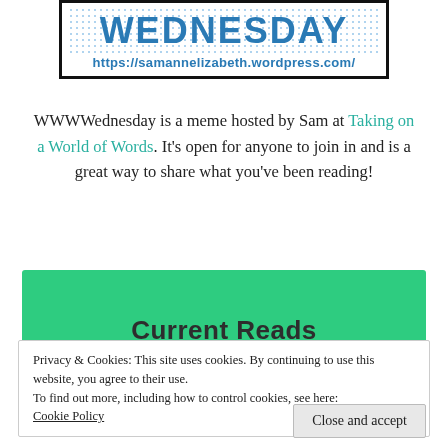[Figure (logo): WWW Wednesday blog banner with bold blue text and polka-dot background, showing title and URL https://samannelizabeth.wordpress.com/]
WWWWednesday is a meme hosted by Sam at Taking on a World of Words. It's open for anyone to join in and is a great way to share what you've been reading!
Current Reads
Privacy & Cookies: This site uses cookies. By continuing to use this website, you agree to their use.
To find out more, including how to control cookies, see here: Cookie Policy